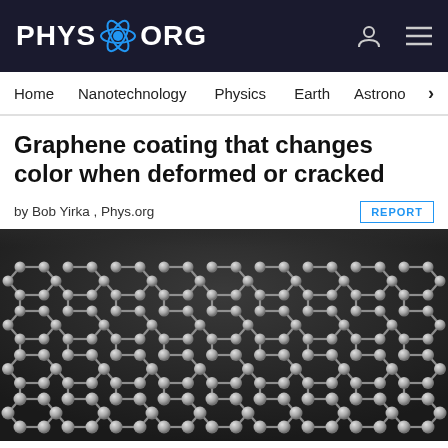PHYS.ORG
Home  Nanotechnology  Physics  Earth  Astrono…
Graphene coating that changes color when deformed or cracked
by Bob Yirka , Phys.org
[Figure (illustration): 3D rendering of a graphene lattice structure showing hexagonal honeycomb pattern with atom nodes (spheres) connected by bonds, viewed at a perspective angle against a dark background.]